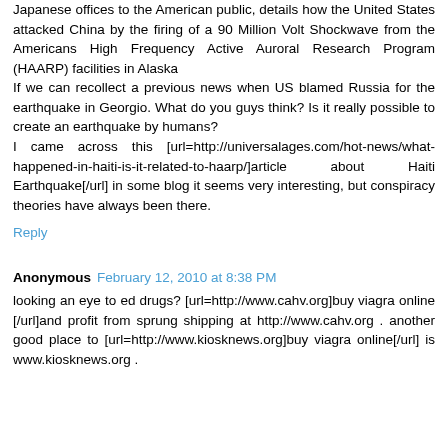Japanese offices to the American public, details how the United States attacked China by the firing of a 90 Million Volt Shockwave from the Americans High Frequency Active Auroral Research Program (HAARP) facilities in Alaska If we can recollect a previous news when US blamed Russia for the earthquake in Georgio. What do you guys think? Is it really possible to create an earthquake by humans? I came across this [url=http://universalages.com/hot-news/what-happened-in-haiti-is-it-related-to-haarp/]article about Haiti Earthquake[/url] in some blog it seems very interesting, but conspiracy theories have always been there.
Reply
Anonymous February 12, 2010 at 8:38 PM
looking an eye to ed drugs? [url=http://www.cahv.org]buy viagra online [/url]and profit from sprung shipping at http://www.cahv.org . another good place to [url=http://www.kiosknews.org]buy viagra online[/url] is www.kiosknews.org .